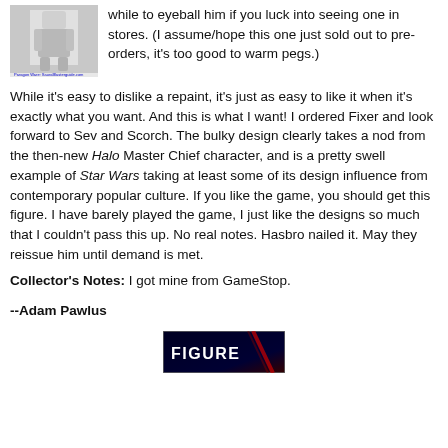[Figure (photo): Photo of a Star Wars action figure (white armored clone trooper) with a small caption/watermark below]
while to eyeball him if you luck into seeing one in stores. (I assume/hope this one just sold out to pre-orders, it's too good to warm pegs.)
While it's easy to dislike a repaint, it's just as easy to like it when it's exactly what you want. And this is what I want! I ordered Fixer and look forward to Sev and Scorch. The bulky design clearly takes a nod from the then-new Halo Master Chief character, and is a pretty swell example of Star Wars taking at least some of its design influence from contemporary popular culture. If you like the game, you should get this figure. I have barely played the game, I just like the designs so much that I couldn't pass this up. No real notes. Hasbro nailed it. May they reissue him until demand is met.
Collector's Notes: I got mine from GameStop.
--Adam Pawlus
[Figure (logo): Figure of the day banner image with 'FIGURE' text on dark background]